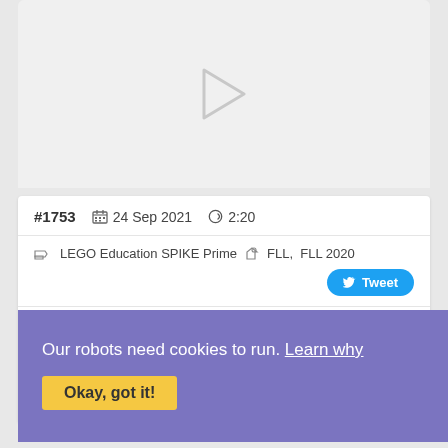[Figure (screenshot): Video thumbnail area with play button on light gray background]
#1753   24 Sep 2021   2:20
LEGO Education SPIKE Prime   FLL,   FLL 2020   Tweet
Body
For this mission we consider concepts you will learn is how to use the rubber bands to trigger and attachment and the robot up. Useful concept and it also includes rubber bands
Our robots need cookies to run. Learn why
Okay, got it!